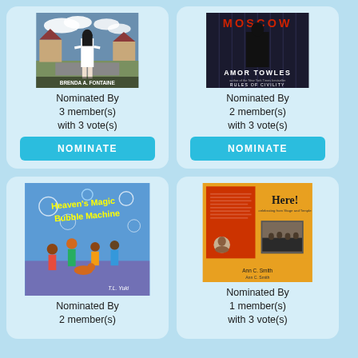[Figure (photo): Book cover: woman in white suit walking away, residential street, author Brenda A. Fontaine]
Nominated By
3 member(s)
with 3 vote(s)
NOMINATE
[Figure (photo): Book cover: A Gentleman in Moscow by Amor Towles, Rules of Civility]
Nominated By
2 member(s)
with 3 vote(s)
NOMINATE
[Figure (photo): Book cover: Heaven's Magic Bubble Machine by T.L. Yuki, colorful children's book illustration]
Nominated By
2 member(s)
[Figure (photo): Book cover: Here! by Ann C. Smith, orange and red cover with photo]
Nominated By
1 member(s)
with 3 vote(s)